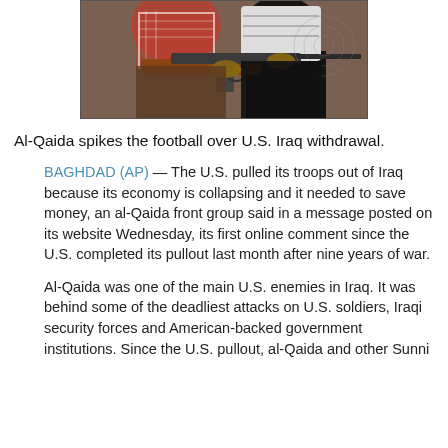[Figure (photo): Two figures wearing traditional Arab headscarves holding an AK-style rifle]
Al-Qaida spikes the football over U.S. Iraq withdrawal.
BAGHDAD (AP) — The U.S. pulled its troops out of Iraq because its economy is collapsing and it needed to save money, an al-Qaida front group said in a message posted on its website Wednesday, its first online comment since the U.S. completed its pullout last month after nine years of war.
Al-Qaida was one of the main U.S. enemies in Iraq. It was behind some of the deadliest attacks on U.S. soldiers, Iraqi security forces and American-backed government institutions. Since the U.S. pullout, al-Qaida and other Sunni